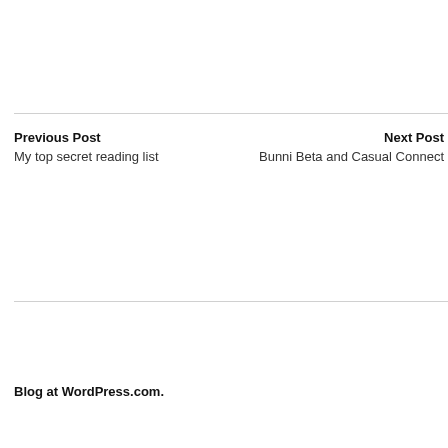Previous Post
My top secret reading list
Next Post
Bunni Beta and Casual Connect
Blog at WordPress.com.